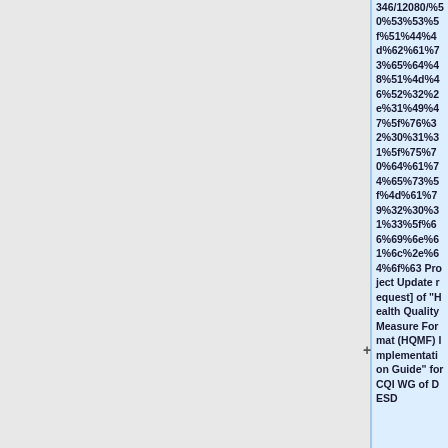346/12080/%50%53%53%5f%51%44%4d%62%61%73%65%64%48%51%4d%46%52%32%2e%31%49%47%5f%76%32%30%31%31%5f%75%70%64%61%74%65%73%5f%4d%61%79%32%30%31%33%5f%66%69%6e%61%6c%2e%64%6f%63 Project Update request] of "Health Quality Measure Format (HQMF) Implementation Guide" for CQI WG of DESD